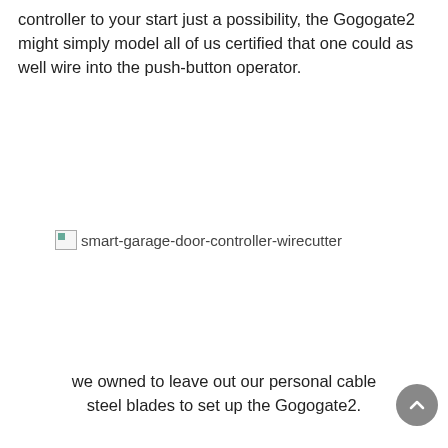controller to your start just a possibility, the Gogogate2 might simply model all of us certified that one could as well wire into the push-button operator.
[Figure (photo): Broken image placeholder with alt text 'smart-garage-door-controller-wirecutter']
we owned to leave out our personal cable steel blades to set up the Gogogate2.